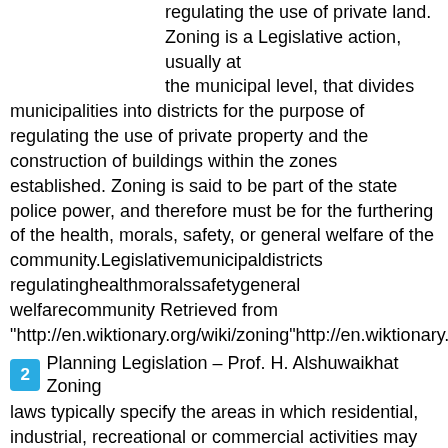regulating the use of private land. Zoning is a Legislative action, usually at the municipal level, that divides municipalities into districts for the purpose of regulating the use of private property and the construction of buildings within the zones established. Zoning is said to be part of the state police power, and therefore must be for the furthering of the health, morals, safety, or general welfare of the community.Legislativemunicipaldistricts regulatinghealthmoralssafetygeneral welfarecommunity Retrieved from "http://en.wiktionary.org/wiki/zoning"http://en.wiktionary.org/wiki/
2  Planning Legislation – Prof. H. Alshuwaikhat Zoning laws typically specify the areas in which residential, industrial, recreational or commercial activities may take place. For example, an R-1 residential zone might allow only single-family detached homes as opposed to duplexes or apartment complexes. On the other hand, a C-1 commercial zone might be zoned to permit only certain commercial or industrial uses in one jurisdiction, but permit a mix of housing and businesses in another jurisdiction. Zoning ordinances specify the permitted uses, the building density,